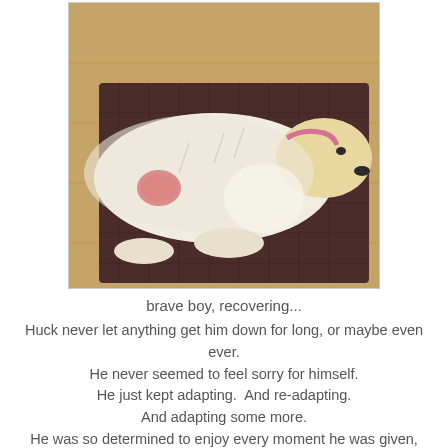[Figure (photo): A white/cream-colored dog, possibly a Golden Retriever or similar breed, lying on a dark brown textured mat/rug on a wooden floor. The dog appears to be recovering from surgery, with a visible wound or surgical site on its side. The dog is resting its head down.]
brave boy, recovering...
Huck never let anything get him down for long, or maybe even ever. He never seemed to feel sorry for himself. He just kept adapting.  And re-adapting. And adapting some more. He was so determined to enjoy every moment he was given, every bit of life his body would allow him to have. Another one of the many things I admired about him.
[Figure (photo): Partial view of another photo at the bottom of the page, partially cut off. Shows what appears to be an outdoor scene.]